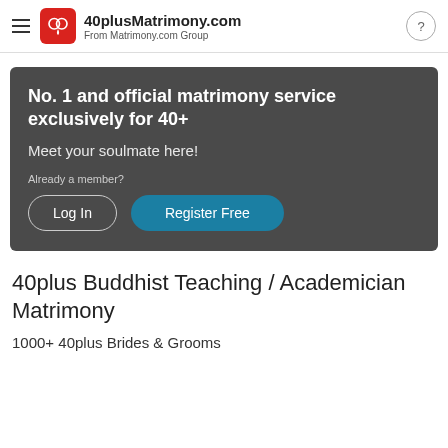40plusMatrimony.com — From Matrimony.com Group
[Figure (infographic): Dark grey banner with white bold text: 'No. 1 and official matrimony service exclusively for 40+', subtitle 'Meet your soulmate here!', member prompt 'Already a member?', and two buttons: 'Log In' (outline) and 'Register Free' (teal filled)]
40plus Buddhist Teaching / Academician Matrimony
1000+ 40plus Brides & Grooms